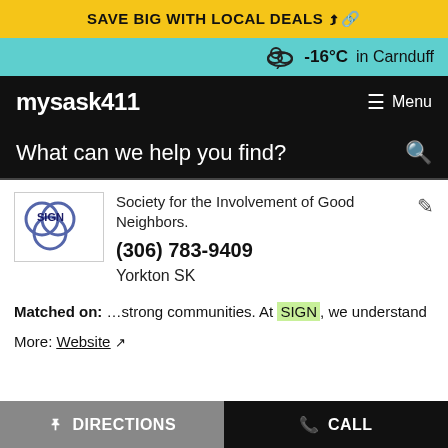SAVE BIG WITH LOCAL DEALS
-16°C in Carnduff
mysask411  Menu
What can we help you find?
[Figure (logo): SIGN logo — circular interlocked shapes with SIGN text]
Society for the Involvement of Good Neighbors.
(306) 783-9409
Yorkton SK
Matched on: …strong communities. At SIGN, we understand
More: Website
DIRECTIONS   CALL